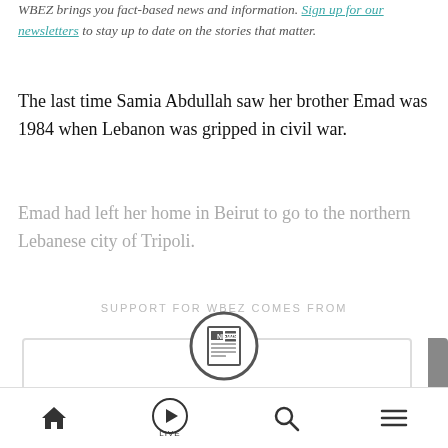WBEZ brings you fact-based news and information. Sign up for our newsletters to stay up to date on the stories that matter.
The last time Samia Abdullah saw her brother Emad was 1984 when Lebanon was gripped in civil war.
Emad had left her home in Beirut to go to the northern Lebanese city of Tripoli.
SUPPORT FOR WBEZ COMES FROM
[Figure (illustration): Newspaper icon inside a circle, representing a news subscription prompt]
Read this story for free.
To continue reading, sign up for The Rundown and get unlimited access to WBEZ.org.
Home | Live | Search | Menu